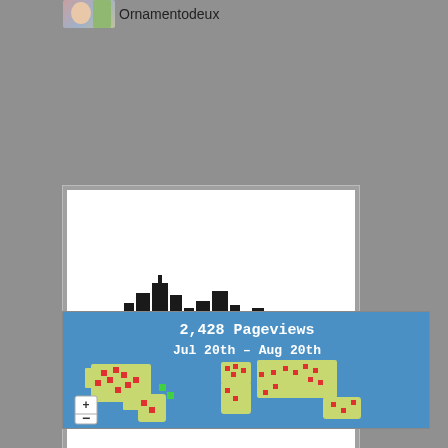Ornamentodeux
[Figure (logo): Philadelphia Area Polymer Clay Guild logo with city skyline silhouette in black and red banner]
[Figure (map): World map showing 2,428 Pageviews Jul 20th - Aug 20th with red and green dots marking visitor locations on a blue background]